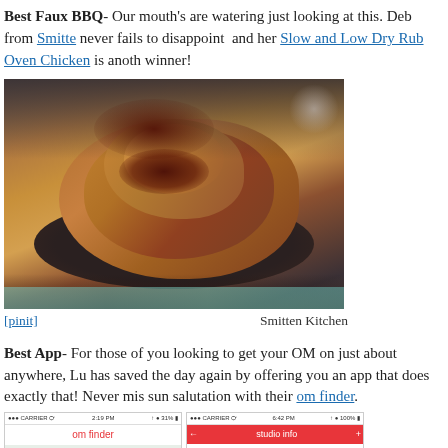Best Faux BBQ- Our mouth's are watering just looking at this. Deb from Smitte never fails to disappoint and her Slow and Low Dry Rub Oven Chicken is anoth winner!
[Figure (photo): Plate of slow and low dry rub oven chicken pieces stacked on a dark plate, glazed with dark BBQ sauce, on a dark background]
[pinit]   Smitten Kitchen
Best App- For those of you looking to get your OM on just about anywhere, Lu has saved the day again by offering you an app that does exactly that! Never mis sun salutation with their om finder.
[Figure (screenshot): Two smartphone screenshots of the 'om finder' app - left shows a map view with om finder header in red text on white, right shows a studio info screen with red header and 'One Yoga for' text]